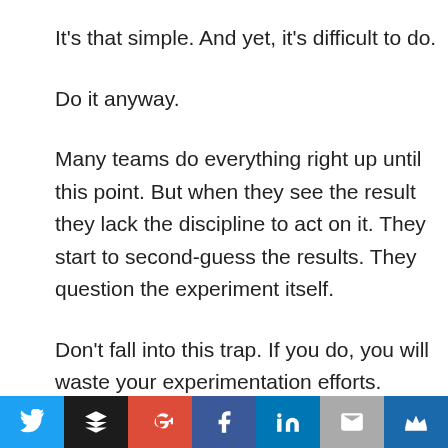It's that simple. And yet, it's difficult to do.
Do it anyway.
Many teams do everything right up until this point. But when they see the result they lack the discipline to act on it. They start to second-guess the results. They question the experiment itself.
Don't fall into this trap. If you do, you will waste your experimentation efforts. Instead, setup the systems to ensure that you trust and act on the results. Make the hard decisions.
[Figure (infographic): Social media sharing bar with icons for Twitter, Buffer, Google+, Facebook, LinkedIn, Email, and a crown icon on colored backgrounds]